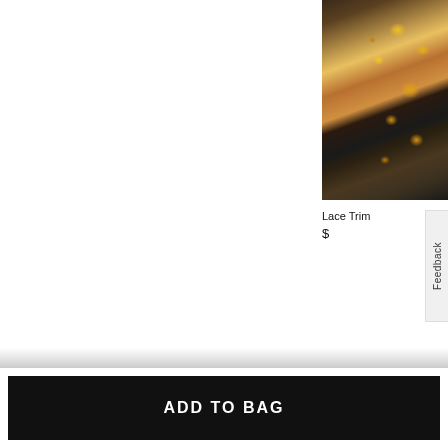[Figure (photo): Partial view of a woman wearing a black floral top with sunflower/yellow flower print, photographed outdoors with yellow flowers in the background]
Lace Trim
$
Feedback
ADD TO BAG